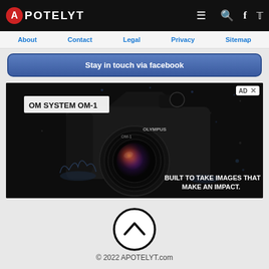APOTELYT — top navigation bar with logo, hamburger menu, search, facebook, twitter icons
About | Contact | Legal | Privacy | Sitemap
Stay in touch via facebook
[Figure (photo): Advertisement for OM SYSTEM OM-1 camera (Olympus) — a black mirrorless camera with water splashing around it, dramatic dark background. Text reads: 'BUILT TO TAKE IMAGES THAT MAKE AN IMPACT.']
[Figure (illustration): Back to top button — chevron up arrow inside a circle]
© 2022 APOTELYT.com